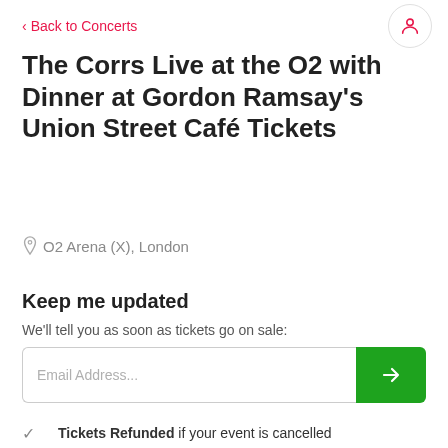< Back to Concerts
The Corrs Live at the O2 with Dinner at Gordon Ramsay's Union Street Café Tickets
O2 Arena (X), London
Keep me updated
We'll tell you as soon as tickets go on sale:
Tickets Refunded if your event is cancelled
Official tickets from an authorised retailer
100% Secure booking process guaranteed